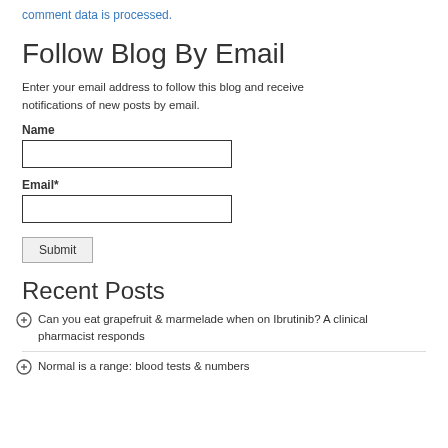comment data is processed.
Follow Blog By Email
Enter your email address to follow this blog and receive notifications of new posts by email.
Name [input field]
Email* [input field]
Submit
Recent Posts
Can you eat grapefruit & marmelade when on Ibrutinib? A clinical pharmacist responds
Normal is a range: blood tests & numbers